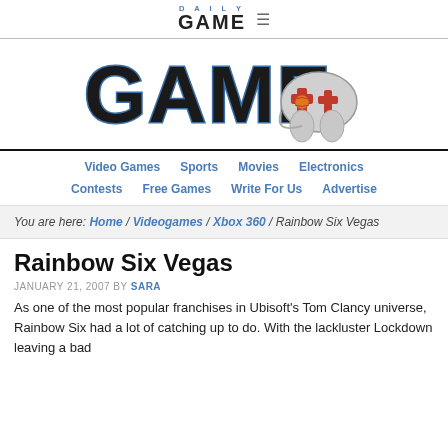DAILY GAME ≡
[Figure (logo): Daily GAME+ logo with large stylized 'GAME' text and a game controller icon with a plus/cross button]
Video Games | Sports | Movies | Electronics | Contests | Free Games | Write For Us | Advertise
You are here: Home / Videogames / Xbox 360 / Rainbow Six Vegas
Rainbow Six Vegas
JANUARY 21, 2007 BY SARA
As one of the most popular franchises in Ubisoft's Tom Clancy universe, Rainbow Six had a lot of catching up to do. With the lackluster Lockdown leaving a bad